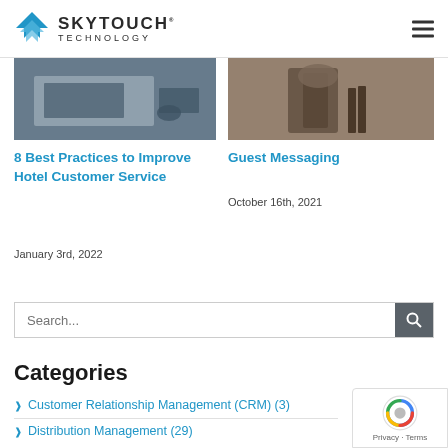SkyTouch Technology
[Figure (photo): Hotel check-in desk photo, blurred/dark]
8 Best Practices to Improve Hotel Customer Service
January 3rd, 2022
[Figure (photo): Luggage and travel photo]
Guest Messaging
October 16th, 2021
Search...
Categories
Customer Relationship Management (CRM) (3)
Distribution Management (29)